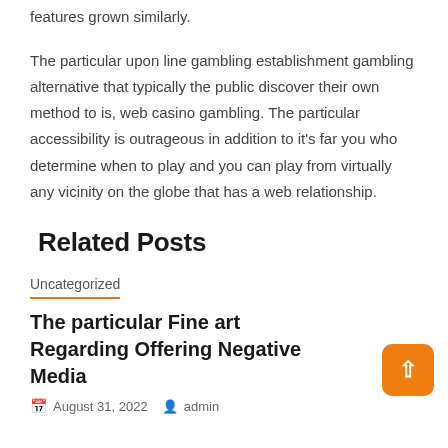features grown similarly.
The particular upon line gambling establishment gambling alternative that typically the public discover their own method to is, web casino gambling. The particular accessibility is outrageous in addition to it's far you who determine when to play and you can play from virtually any vicinity on the globe that has a web relationship.
Related Posts
Uncategorized
The particular Fine art Regarding Offering Negative Media
August 31, 2022   admin